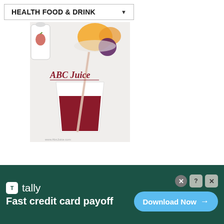HEALTH FOOD & DRINK
[Figure (photo): ABC Juice - a dark red/maroon juice in a paper cup with a straw, with fruits visible in the background. Text overlay reads 'ABC Juice'.]
[Figure (infographic): Tally advertisement banner. Green background with Tally logo, text 'Fast credit card payoff' and a 'Download Now' button.]